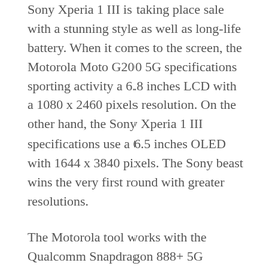Sony Xperia 1 III is taking place sale with a stunning style as well as long-life battery. When it comes to the screen, the Motorola Moto G200 5G specifications sporting activity a 6.8 inches LCD with a 1080 x 2460 pixels resolution. On the other hand, the Sony Xperia 1 III specifications use a 6.5 inches OLED with 1644 x 3840 pixels. The Sony beast wins the very first round with greater resolutions.
The Motorola tool works with the Qualcomm Snapdragon 888+ 5G chipset, while the various other work with the Qualcomm Snapdragon 888 5G. The Motorola phone runs on Android 11 as the operating system while the challenger runs on Android 11 (upgradable to Android 12). Memory-wise, the Motorola phone shows up in various alternatives: 128 GB/ 8GB RAM, 256 GB/ 8GB RAM (no card port).